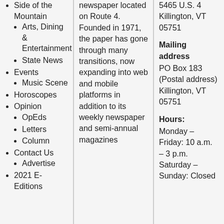Side of the Mountain
Arts, Dining & Entertainment
State News
Events
Music Scene
Horoscopes
Opinion
OpEds
Letters
Column
Contact Us
Advertise
2021 E-Editions
newspaper located on Route 4. Founded in 1971, the paper has gone through many transitions, now expanding into web and mobile platforms in addition to its weekly newspaper and semi-annual magazines
5465 U.S. 4 Killington, VT 05751
Mailing address PO Box 183 (Postal address) Killington, VT 05751
Hours: Monday – Friday: 10 a.m. – 3 p.m. Saturday – Sunday: Closed